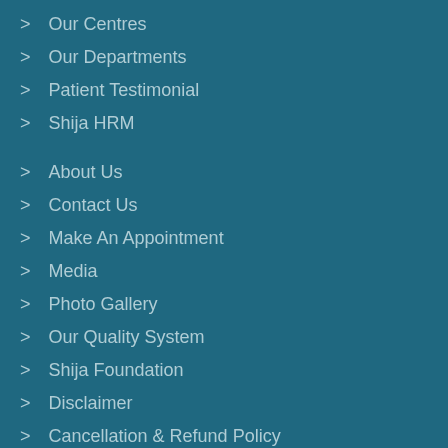> Our Centres
> Our Departments
> Patient Testimonial
> Shija HRM
> About Us
> Contact Us
> Make An Appointment
> Media
> Photo Gallery
> Our Quality System
> Shija Foundation
> Disclaimer
> Cancellation & Refund Policy